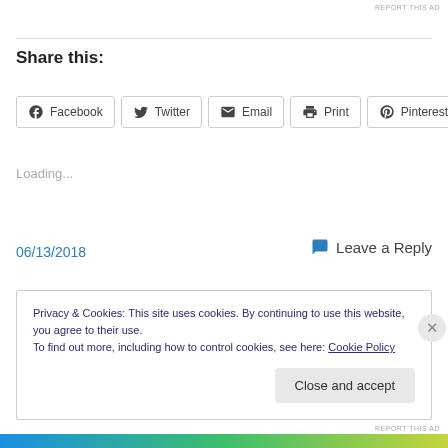REPORT THIS AD
Share this:
Facebook
Twitter
Email
Print
Pinterest
Loading...
06/13/2018
Leave a Reply
Privacy & Cookies: This site uses cookies. By continuing to use this website, you agree to their use.
To find out more, including how to control cookies, see here: Cookie Policy
Close and accept
REPORT THIS AD